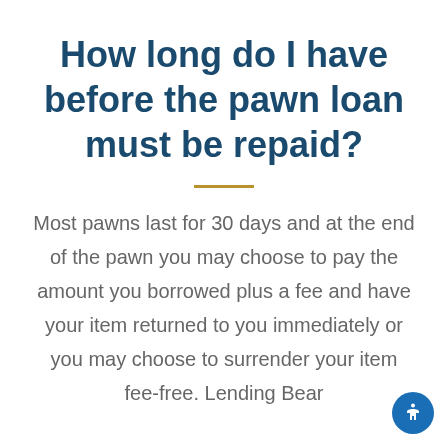How long do I have before the pawn loan must be repaid?
Most pawns last for 30 days and at the end of the pawn you may choose to pay the amount you borrowed plus a fee and have your item returned to you immediately or you may choose to surrender your item fee-free. Lending Bear